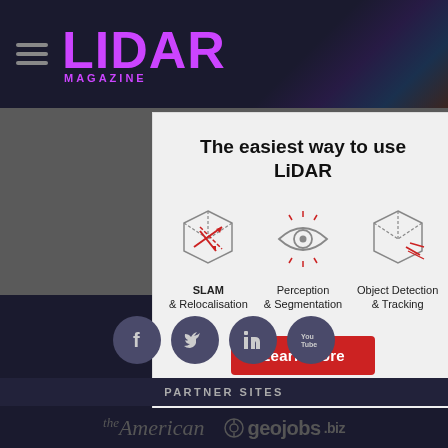LIDAR MAGAZINE
[Figure (infographic): LiDAR advertisement showing three icons: a 3D box with red arrows (SLAM & Relocalisation), an eye icon (Perception & Segmentation), and a 3D box with red lines (Object Detection & Tracking), with a Learn More button. Text: The easiest way to use LiDAR]
[Figure (infographic): Social media icons row: Facebook, Twitter, LinkedIn, YouTube — dark circular buttons on dark navy background]
PARTNER SITES
[Figure (logo): the American (cursive logo) and geojobs.biz logo on dark background]